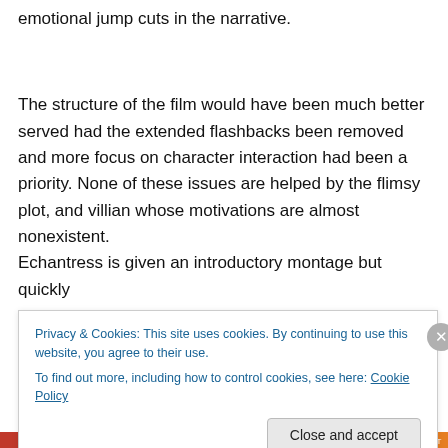that, is justified by what can only be described as emotional jump cuts in the narrative.
The structure of the film would have been much better served had the extended flashbacks been removed and more focus on character interaction had been a priority. None of these issues are helped by the flimsy plot, and villian whose motivations are almost nonexistent. Echantress is given an introductory montage but quickly
Privacy & Cookies: This site uses cookies. By continuing to use this website, you agree to their use.
To find out more, including how to control cookies, see here: Cookie Policy